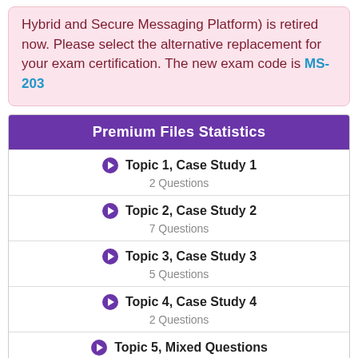Hybrid and Secure Messaging Platform) is retired now. Please select the alternative replacement for your exam certification. The new exam code is MS-203
Premium Files Statistics
Topic 1, Case Study 1 — 2 Questions
Topic 2, Case Study 2 — 7 Questions
Topic 3, Case Study 3 — 5 Questions
Topic 4, Case Study 4 — 2 Questions
Topic 5, Mixed Questions — 142 Questions
Single Choices